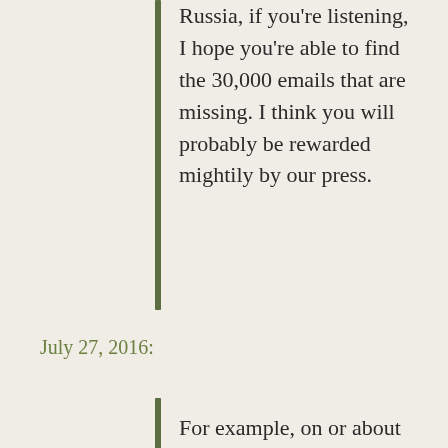Russia, if you're listening, I hope you're able to find the 30,000 emails that are missing. I think you will probably be rewarded mightily by our press.
July 27, 2016:
For example, on or about July 27, 2016, the Conspirators attempted after hours to spearphish for the first time email accounts at a domain hosted by a third-party provider and used by Clinton's personal office. At or around the same time, they also targeted seventy-six email addresses at the domain for the Clinton